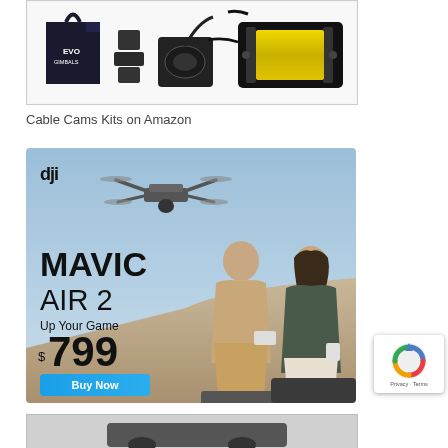[Figure (photo): Product photo showing EVO gimbals camera accessories kit including a black bag with EVO Gimbals branding, mounting hardware, cable coil, and a large yellow cable reel spool on a white background with gray border]
Cable Cams Kits on Amazon
[Figure (photo): DJI advertisement banner showing DJI Mavic Air 2 drone. Features DJI logo top left, drone in flight in upper center, large text MAVIC AIR 2, tagline Up Your Game, price $799, and blue Buy Now button on left side. Right side shows two people (man and woman) sitting outdoors looking upward, with outdoor background.]
[Figure (photo): Partially visible image at bottom of page, appears to be another product photo, mostly cut off]